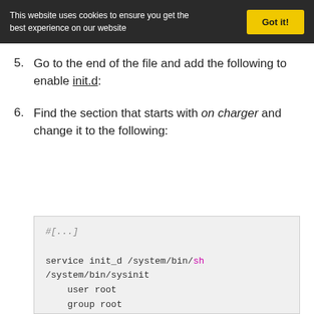This website uses cookies to ensure you get the best experience on our website  Got it!
5. Go to the end of the file and add the following to enable init.d:
6. Find the section that starts with on charger and change it to the following:
#[...]

service init_d /system/bin/sh /system/bin/sysinit
    user root
    group root